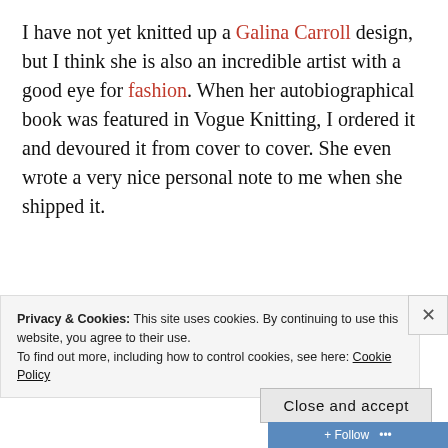I have not yet knitted up a Galina Carroll design, but I think she is also an incredible artist with a good eye for fashion. When her autobiographical book was featured in Vogue Knitting, I ordered it and devoured it from cover to cover. She even wrote a very nice personal note to me when she shipped it.
[Figure (photo): Partial photo of trees/foliage against a blue sky, partially obscured by cookie consent banner]
Privacy & Cookies: This site uses cookies. By continuing to use this website, you agree to their use. To find out more, including how to control cookies, see here: Cookie Policy
Close and accept
Follow